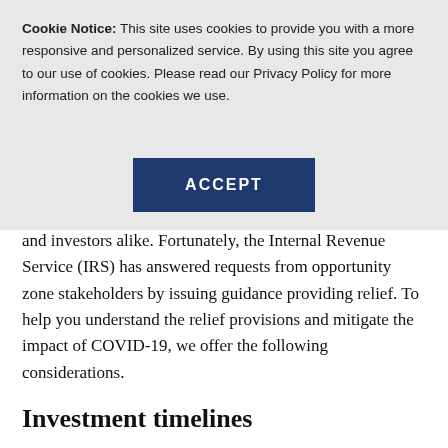Cookie Notice: This site uses cookies to provide you with a more responsive and personalized service. By using this site you agree to our use of cookies. Please read our Privacy Policy for more information on the cookies we use.
ACCEPT
and investors alike. Fortunately, the Internal Revenue Service (IRS) has answered requests from opportunity zone stakeholders by issuing guidance providing relief. To help you understand the relief provisions and mitigate the impact of COVID-19, we offer the following considerations.
Investment timelines
The turbulent economic environment may make it difficult for investors to find good OZ investments within the required 180-day investment window. To aid investors...